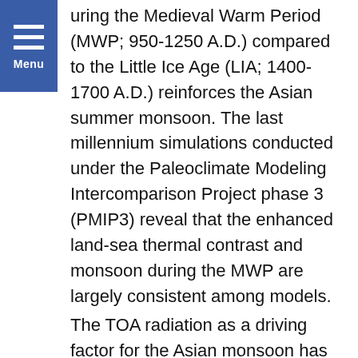during the Medieval Warm Period (MWP; 950-1250 A.D.) compared to the Little Ice Age (LIA; 1400-1700 A.D.) reinforces the Asian summer monsoon. The last millennium simulations conducted under the Paleoclimate Modeling Intercomparison Project phase 3 (PMIP3) reveal that the enhanced land-sea thermal contrast and monsoon during the MWP are largely consistent among models.
The TOA radiation as a driving factor for the Asian monsoon has its peak anomaly (MWP minus LIA) during July to September (JAS) over the Northern Hemisphere mid and high latitudes. In contrast, the TOA radiation between boreal winter and pre-monsoon period (April to June; AMJ) shows negative anomaly (less insolation during the MWP compared to the LIA). The seasonally asymmetric radiative forcing can result in early/delayed onset of summer